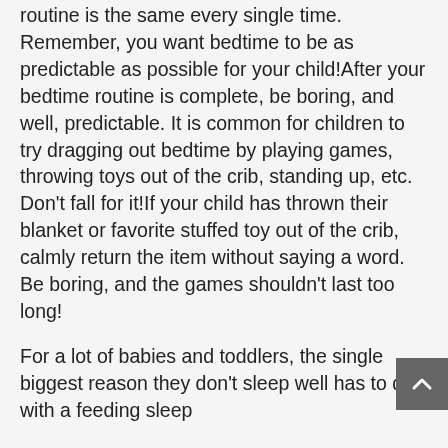routine is the same every single time. Remember, you want bedtime to be as predictable as possible for your child!After your bedtime routine is complete, be boring, and well, predictable. It is common for children to try dragging out bedtime by playing games, throwing toys out of the crib, standing up, etc. Don't fall for it!If your child has thrown their blanket or favorite stuffed toy out of the crib, calmly return the item without saying a word. Be boring, and the games shouldn't last too long!
For a lot of babies and toddlers, the single biggest reason they don't sleep well has to do with a feeding sleep